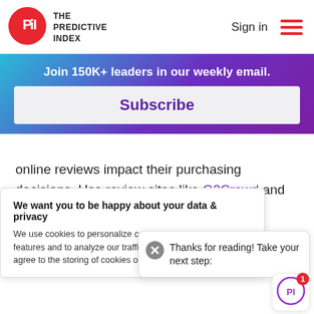[Figure (logo): The Predictive Index logo — red circle with 'PI' text and bold sans-serif brand name to the right]
Sign in
[Figure (illustration): Hamburger menu icon (three horizontal red lines)]
Join 150K+ leaders in our weekly email.
Subscribe
online reviews impact their purchasing decisions. Use review sites like G2Crowd and TrustRadius to hear what
We want you to be happy about your data & privacy
We use cookies to personalize content, provide social media features and to analyze our traffic. By using this website, you agree to the storing of cookies on your device. More details.
Thanks for reading! Take your next step:
[Figure (logo): Predictive Index circular badge logo with notification badge showing '1']